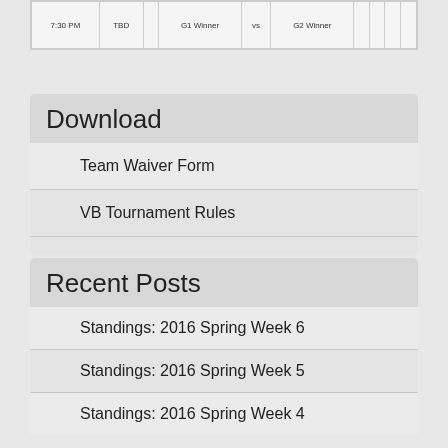| 7:30 PM | TBD |  | G1 Winner | vs | G2 Winner |  |  |  |  |
| --- | --- | --- | --- | --- | --- | --- | --- | --- | --- |
Download
Team Waiver Form
VB Tournament Rules
Recent Posts
Standings: 2016 Spring Week 6
Standings: 2016 Spring Week 5
Standings: 2016 Spring Week 4